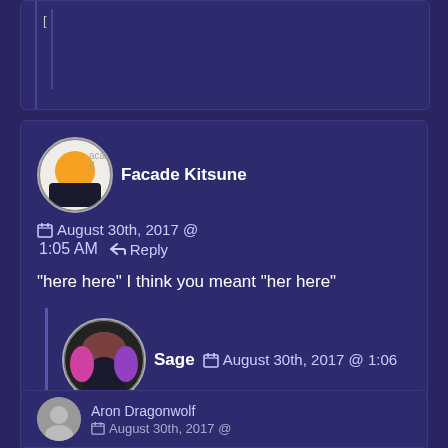[Figure (screenshot): Truncated top comment card, partially visible]
Facade Kitsune  August 30th, 2017 @ 1:05 AM  Reply
“here here” I think you meant “her here”
Sage  August 30th, 2017 @ 1:06 AM  Reply
Appreciated and fixed!
[Figure (screenshot): Truncated bottom comment card showing Aron Dragonwolf avatar and partial date August 30th, 2017]